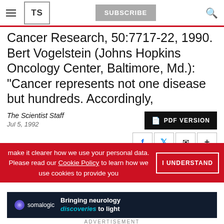TS | SUBSCRIBE
Cancer Research, 50:7717-22, 1990. Bert Vogelstein (Johns Hopkins Oncology Center, Baltimore, Md.): "Cancer represents not one disease but hundreds. Accordingly,
The Scientist Staff
Jul 5, 1992
PDF VERSION
make it clearer how we use your personal data.
Please read our Cookie Policy to learn how we use cookies to provide you
I UNDERSTAND
[Figure (screenshot): Advertisement banner for somalogic: 'Bringing neurology discoveries to light']
ADVERTISEMENT